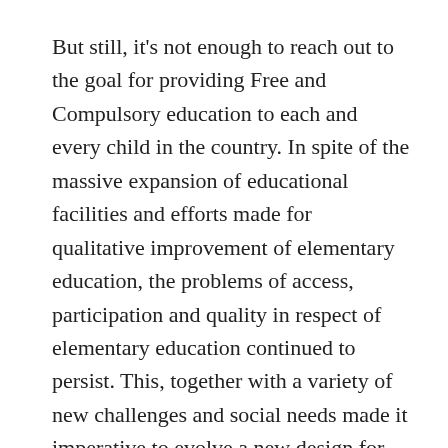But still, it's not enough to reach out to the goal for providing Free and Compulsory education to each and every child in the country. In spite of the massive expansion of educational facilities and efforts made for qualitative improvement of elementary education, the problems of access, participation and quality in respect of elementary education continued to persist. This, together with a variety of new challenges and social needs made it imperative to evolve a new design for education.
In my opinion, only few modifications in existing policy would not make any difference until there is paradigm shift in whole education approach. There is no any coherence between existing educational framework and potential